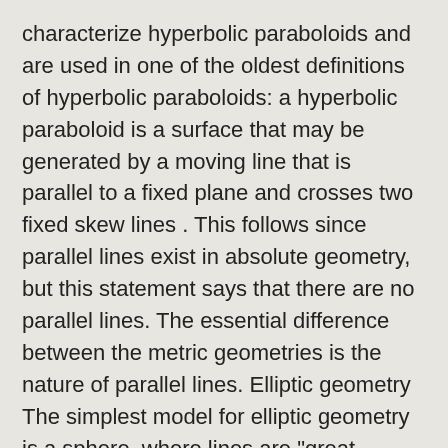characterize hyperbolic paraboloids and are used in one of the oldest definitions of hyperbolic paraboloids: a hyperbolic paraboloid is a surface that may be generated by a moving line that is parallel to a fixed plane and crosses two fixed skew lines . This follows since parallel lines exist in absolute geometry, but this statement says that there are no parallel lines. The essential difference between the metric geometries is the nature of parallel lines. Elliptic geometry The simplest model for elliptic geometry is a sphere, where lines are "great circles" (such as the equator or the meridians on a globe), and points opposite each other (called antipodal points) are identified (considered to be the same). ( To describe a circle with any centre and distance [radius]. As the first 28 propositions of Euclid (in The Elements) do not require the use of the parallel postulate or anything equivalent to it, they are all true statements in absolute geometry.[18]. Elliptic geometry is a non-Euclidean